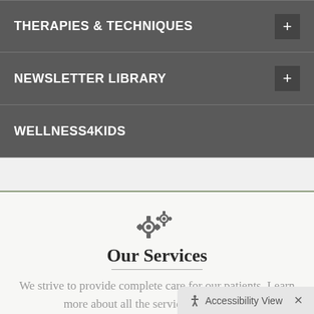THERAPIES & TECHNIQUES
NEWSLETTER LIBRARY
WELLNESS4KIDS
Our Services
We strive to provide complete care for our patients. Learn more about all the services we provide.
Learn More
Accessibility View